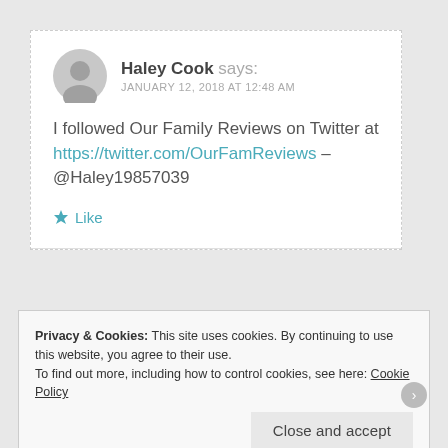Haley Cook says: JANUARY 12, 2018 AT 12:48 AM
I followed Our Family Reviews on Twitter at https://twitter.com/OurFamReviews – @Haley19857039
Like
Privacy & Cookies: This site uses cookies. By continuing to use this website, you agree to their use. To find out more, including how to control cookies, see here: Cookie Policy
Close and accept